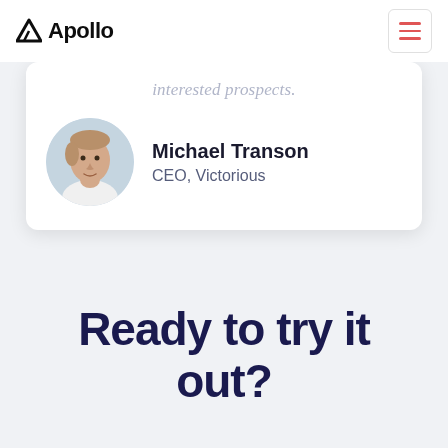Apollo
interested prospects.
Michael Transon
CEO, Victorious
[Figure (photo): Circular headshot of Michael Transon, a man in a white shirt against a light background]
Ready to try it out?